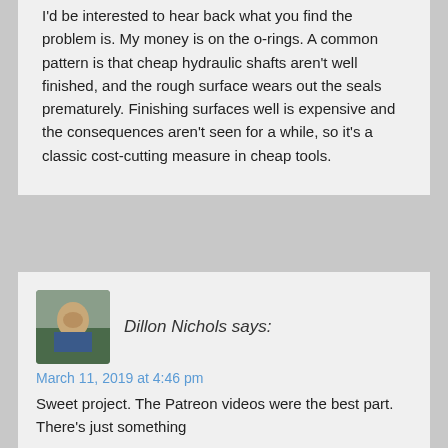I'd be interested to hear back what you find the problem is. My money is on the o-rings. A common pattern is that cheap hydraulic shafts aren't well finished, and the rough surface wears out the seals prematurely. Finishing surfaces well is expensive and the consequences aren't seen for a while, so it's a classic cost-cutting measure in cheap tools.
[Figure (photo): Avatar photo of Dillon Nichols, a person outdoors]
Dillon Nichols says:
March 11, 2019 at 4:46 pm
Sweet project. The Patreon videos were the best part. There's just something